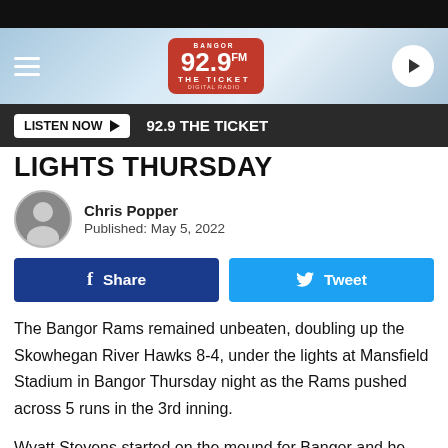[Figure (screenshot): 92.9 The Ticket radio station website header with logo, hamburger menu, play button, and LISTEN NOW bar]
LIGHTS THURSDAY
Chris Popper
Published: May 5, 2022
Share   Tweet
The Bangor Rams remained unbeaten, doubling up the Skowhegan River Hawks 8-4, under the lights at Mansfield Stadium in Bangor Thursday night as the Rams pushed across 5 runs in the 3rd inning.
Wyatt Stevens started on the mound for Bangor and he went 6.0 innings picking up the win. He struck out 2, walked 2 and